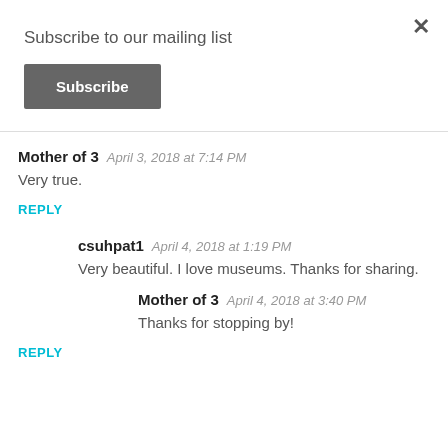Subscribe to our mailing list
Subscribe
Mother of 3   April 3, 2018 at 7:14 PM
Very true.
REPLY
csuhpat1   April 4, 2018 at 1:19 PM
Very beautiful. I love museums. Thanks for sharing.
Mother of 3   April 4, 2018 at 3:40 PM
Thanks for stopping by!
REPLY